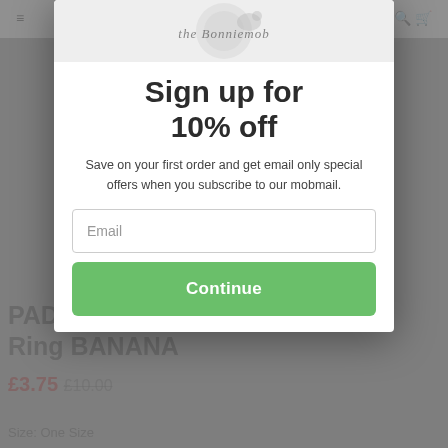[Figure (screenshot): Website navigation bar with hamburger menu, Bonniemob logo, search and cart icons visible behind modal overlay]
Sign up for 10% off
Save on your first order and get email only special offers when you subscribe to our mobmail.
Email (input field placeholder)
Continue (button)
PADDLE – Baby Teething Ring BANANA
£3.75  £10.00
Size: One Size